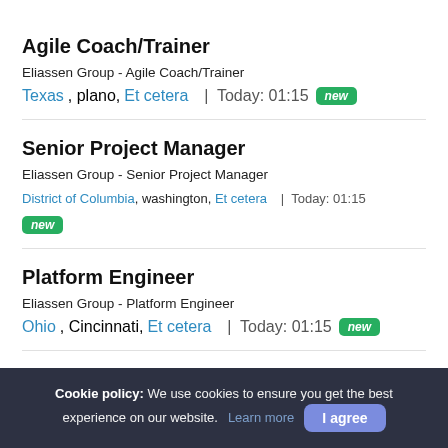Agile Coach/Trainer
Eliassen Group - Agile Coach/Trainer
Texas, plano, Et cetera | Today: 01:15  new
Senior Project Manager
Eliassen Group - Senior Project Manager
District of Columbia, washington, Et cetera | Today: 01:15  new
Platform Engineer
Eliassen Group - Platform Engineer
Ohio, Cincinnati, Et cetera | Today: 01:15  new
(partial title cut off)
Cookie policy: We use cookies to ensure you get the best experience on our website. Learn more  I agree